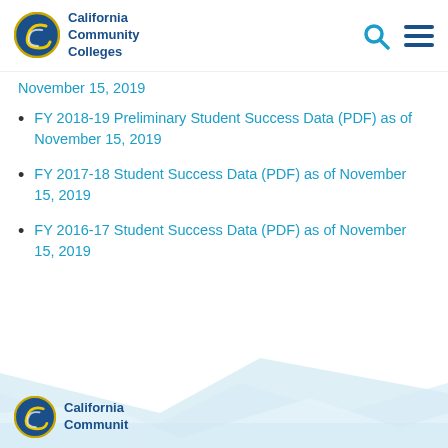California Community Colleges
November 15, 2019
FY 2018-19 Preliminary Student Success Data (PDF) as of November 15, 2019
FY 2017-18 Student Success Data (PDF) as of November 15, 2019
FY 2016-17 Student Success Data (PDF) as of November 15, 2019
California Community Colleges